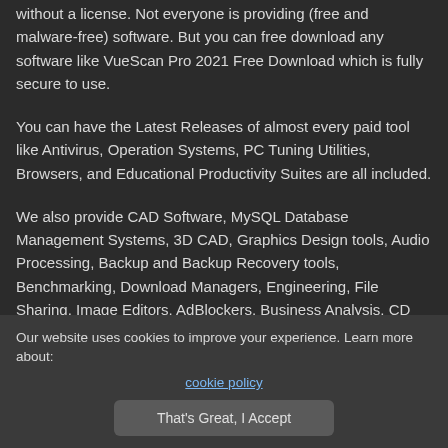without a license. Not everyone is providing (free and malware-free) software. But you can free download any software like VueScan Pro 2021 Free Download which is fully secure to use.
You can have the Latest Releases of almost every paid tool like Antivirus, Operation Systems, PC Tuning Utilities, Browsers, and Educational Productivity Suites are all included.
We also provide CAD Software, MySQL Database Management Systems, 3D CAD, Graphics Design tools, Audio Processing, Backup and Backup Recovery tools, Benchmarking, Download Managers, Engineering, File Sharing, Image Editors, AdBlockers, Business Analysis, CD DVD tools, Disk Management, Management, Multimedia, PDF Editors, Photoshop Plugins, Screen Recording, Simulation, Simulators, Website Design,
Our website uses cookies to improve your experience. Learn more about: cookie policy
That's Great, I Accept